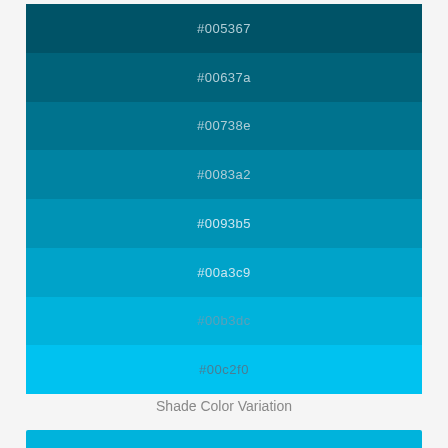[Figure (infographic): Color swatch palette showing 8 shades from dark teal to bright cyan: #005367, #00637a, #00738e, #0083a2, #0093b5, #00a3c9, #00b3dc, #00c2f0]
Shade Color Variation
[Figure (infographic): Bottom partial color bar in bright cyan #00b3dc]